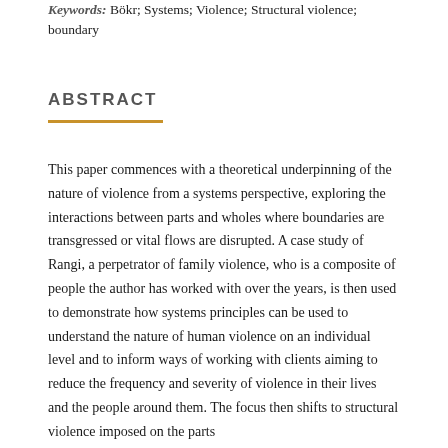Keywords: Bökr; Systems; Violence; Structural violence; boundary
ABSTRACT
This paper commences with a theoretical underpinning of the nature of violence from a systems perspective, exploring the interactions between parts and wholes where boundaries are transgressed or vital flows are disrupted. A case study of Rangi, a perpetrator of family violence, who is a composite of people the author has worked with over the years, is then used to demonstrate how systems principles can be used to understand the nature of human violence on an individual level and to inform ways of working with clients aiming to reduce the frequency and severity of violence in their lives and the people around them. The focus then shifts to structural violence imposed on the parts